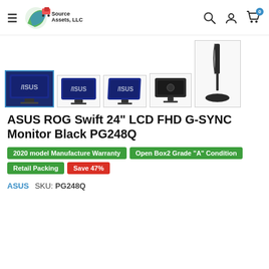Source Assets, LLC — Navigation header with search, account, and cart icons
[Figure (photo): Five product photos of ASUS ROG Swift 24 inch monitor from different angles: front with blue ASUS logo, front with stand, slightly angled front, rear view, and side profile showing full stand height.]
ASUS ROG Swift 24" LCD FHD G-SYNC Monitor Black PG248Q
2020 model Manufacture Warranty | Open Box2 Grade "A" Condition | Retail Packing | Save 47%
ASUS   SKU: PG248Q